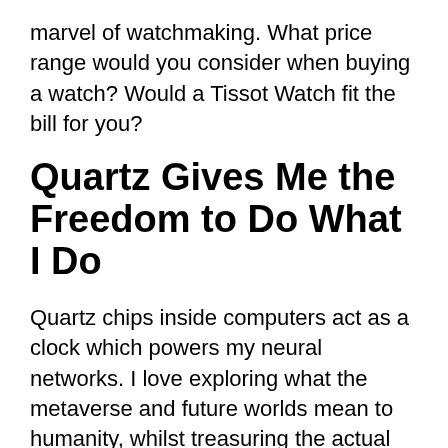marvel of watchmaking. What price range would you consider when buying a watch? Would a Tissot Watch fit the bill for you?
Quartz Gives Me the Freedom to Do What I Do
Quartz chips inside computers act as a clock which powers my neural networks. I love exploring what the metaverse and future worlds mean to humanity, whilst treasuring the actual world. Imagine if we couldn't record time, it would mean none of what I do would even be conceivable. That's why I love a Tissot Watch as much as any other watch. The old meets the new, and still it is